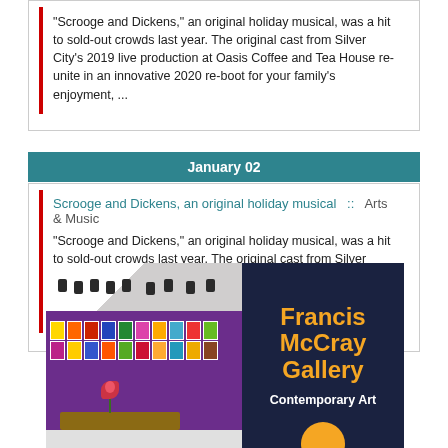"Scrooge and Dickens," an original holiday musical, was a hit to sold-out crowds last year. The original cast from Silver City's 2019 live production at Oasis Coffee and Tea House re-unite in an innovative 2020 re-boot for your family's enjoyment, ...
January 02
Scrooge and Dickens, an original holiday musical  ::  Arts & Music
"Scrooge and Dickens," an original holiday musical, was a hit to sold-out crowds last year. The original cast from Silver City's 2019 live production at Oasis Coffee and Tea House re-unite in an innovative 2020 re-boot for your family's enjoyment, ...
[Figure (photo): Art gallery interior with purple walls displaying colorful artwork, track lighting on ceiling, flower arrangement on table. Adjacent dark navy panel reads 'Francis McCray Gallery' in orange bold text with 'Contemporary Art' below in white.]